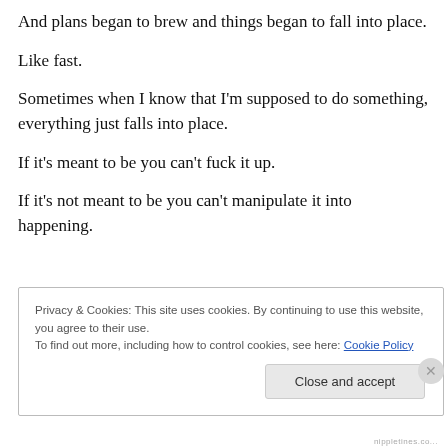And plans began to brew and things began to fall into place.
Like fast.
Sometimes when I know that I'm supposed to do something, everything just falls into place.
If it's meant to be you can't fuck it up.
If it's not meant to be you can't manipulate it into happening.
Privacy & Cookies: This site uses cookies. By continuing to use this website, you agree to their use.
To find out more, including how to control cookies, see here: Cookie Policy
Close and accept
nippletines.co...